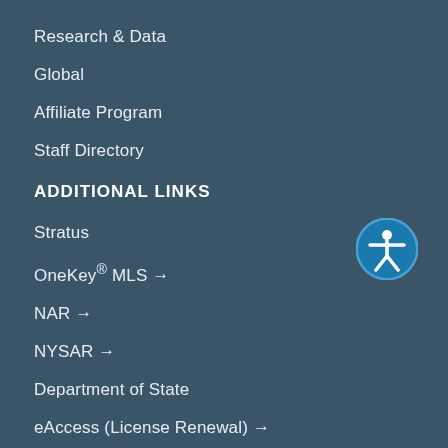Research & Data
Global
Affiliate Program
Staff Directory
ADDITIONAL LINKS
Stratus
OneKey® MLS →
NAR →
NYSAR →
Department of State
eAccess (License Renewal) →
Houselogic.com →
Housing Opportunities